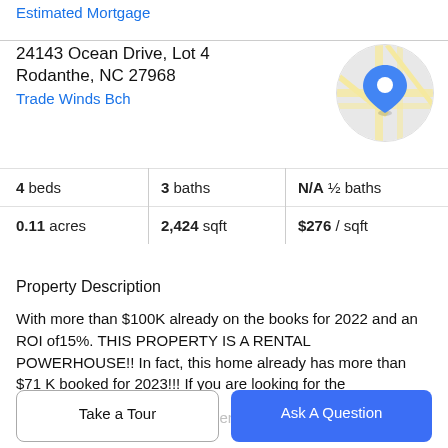Estimated Mortgage
24143 Ocean Drive, Lot 4
Rodanthe, NC 27968
Trade Winds Bch
[Figure (map): Circular map thumbnail showing a blue location pin on a street map]
| 4 beds | 3 baths | N/A ½ baths |
| 0.11 acres | 2,424 sqft | $276 / sqft |
Property Description
With more than $100K already on the books for 2022 and an ROI of15%. THIS PROPERTY IS A RENTAL POWERHOUSE!! In fact, this home already has more than $71 K booked for 2023!!! If you are looking for the
perfect vacation home/investment opportunit, look no
Take a Tour
Ask A Question